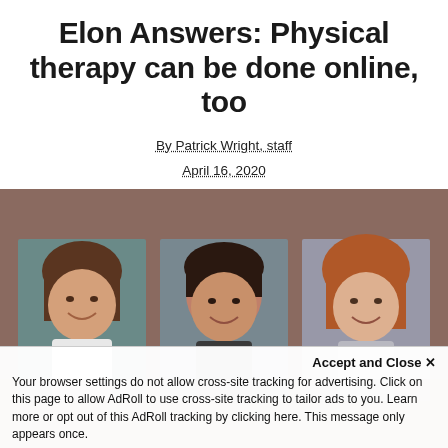Elon Answers: Physical therapy can be done online, too
By Patrick Wright, staff
April 16, 2020
[Figure (photo): Three women (physical therapists) shown in professional headshot portraits side by side against a warm brown/neutral background.]
Accept and Close ×
Your browser settings do not allow cross-site tracking for advertising. Click on this page to allow AdRoll to use cross-site tracking to tailor ads to you. Learn more or opt out of this AdRoll tracking by clicking here. This message only appears once.